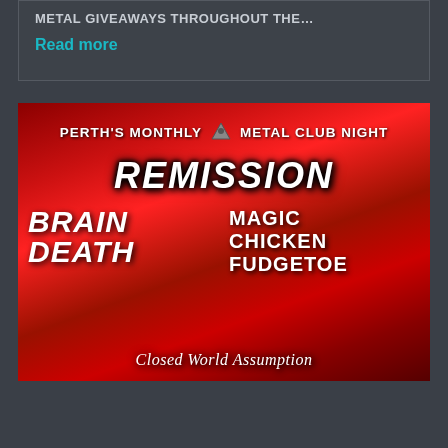METAL GIVEAWAYS THROUGHOUT THE…
Read more
[Figure (illustration): Event poster for Perth's Monthly Metal Club Night featuring bands: Remission, Brain Death, Magic Chicken Fudgetoe, and Closed World Assumption. Red and black background with dark atmospheric imagery.]